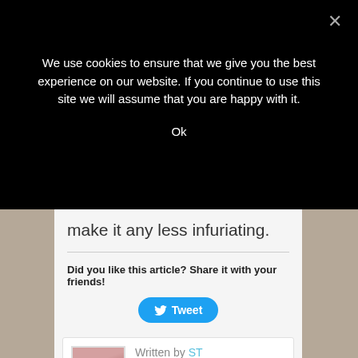We use cookies to ensure that we give you the best experience on our website. If you continue to use this site we will assume that you are happy with it.
Ok
make it any less infuriating.
Did you like this article? Share it with your friends!
[Figure (other): Twitter Tweet button with bird icon and text 'Tweet']
Written by ST
Based in North Carolina, Sister Toldjah is a 15+ year veteran of blogging with an emphasis on mainstream media bias and